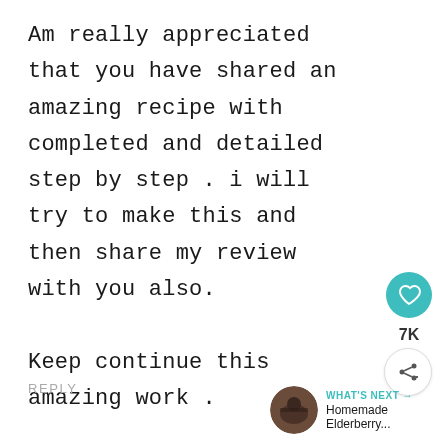Am really appreciated that you have shared an amazing recipe with completed and detailed step by step . i will try to make this and then share my review with you also.

Keep continue this amazing work .

Best,

Gabriel
REPLY
[Figure (other): Heart/like button (teal circle with heart icon), 7K count, and share button (circle with share icon)]
[Figure (other): What's Next banner with circular photo thumbnail and text 'WHAT'S NEXT → Homemade Elderberry...']